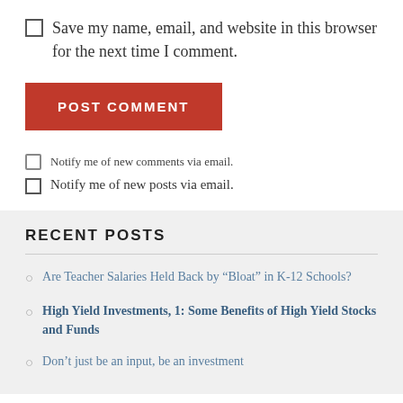Save my name, email, and website in this browser for the next time I comment.
POST COMMENT
Notify me of new comments via email.
Notify me of new posts via email.
RECENT POSTS
Are Teacher Salaries Held Back by “Bloat” in K-12 Schools?
High Yield Investments, 1: Some Benefits of High Yield Stocks and Funds
Don’t just be an input, be an investment